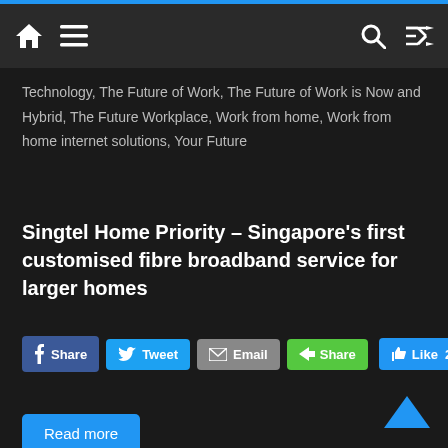Navigation bar with home, menu, search, and shuffle icons
Technology, The Future of Work, The Future of Work is Now and Hybrid, The Future Workplace, Work from home, Work from home internet solutions, Your Future
Singtel Home Priority – Singapore's first customised fibre broadband service for larger homes
[Figure (screenshot): Social sharing buttons: Facebook Share, Tweet, Email, Share (green), Like 2 (blue)]
Read more